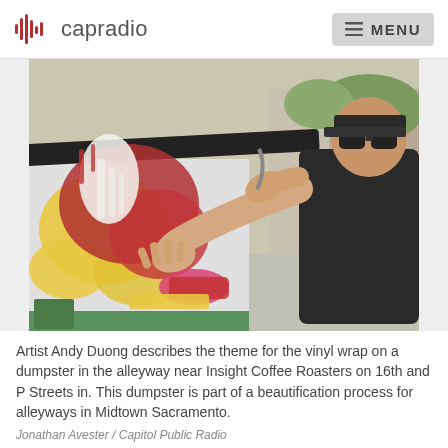capradio  MENU
[Figure (photo): Artist Andy Duong pressing his hands against a colorful vinyl wrap on a dumpster in an alleyway. The wrap features abstract paint splashes in red, yellow, and white. He is wearing sunglasses and a black shirt. Trees and a building are visible in the background.]
Artist Andy Duong describes the theme for the vinyl wrap on a dumpster in the alleyway near Insight Coffee Roasters on 16th and P Streets in. This dumpster is part of a beautification process for alleyways in Midtown Sacramento.
Jonathan Avester / Capitol Public Radio